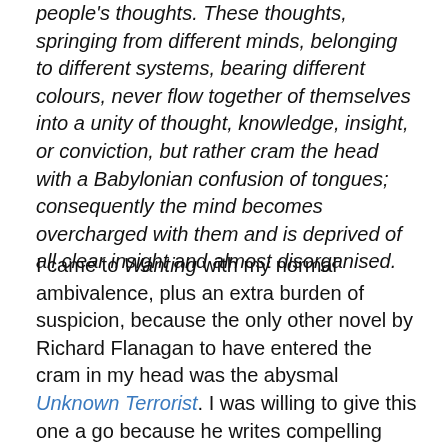people's thoughts. These thoughts, springing from different minds, belonging to different systems, bearing different colours, never flow together of themselves into a unity of thought, knowledge, insight, or conviction, but rather cram the head with a Babylonian confusion of tongues; consequently the mind becomes overcharged with them and is deprived of all clear insight and almost disorganised.
I came to Wanting with my normal ambivalence, plus an extra burden of suspicion, because the only other novel by Richard Flanagan to have entered the cram in my head was the abysmal Unknown Terrorist. I was willing to give this one a go because he writes compelling non-fiction, and the earlier, terrible novel was set a long way from his native Tasmania, in a place he clearly loathed and equally clearly didn't know at all well, whereas this one is largely